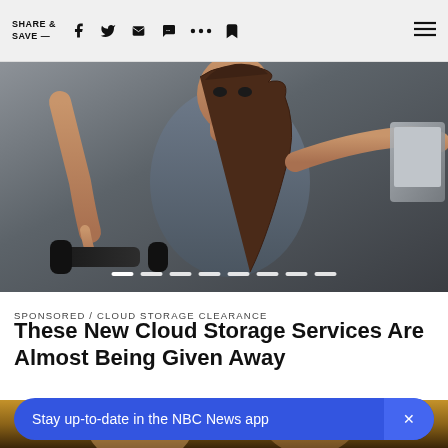SHARE & SAVE —
[Figure (photo): Woman in grey athletic wear leaning over a laptop and a dumbbell, looking intensely at the camera. Fitness / technology themed promotional image with slideshow dots overlay.]
SPONSORED / CLOUD STORAGE CLEARANCE
These New Cloud Storage Services Are Almost Being Given Away
[Figure (photo): Partial view of people's faces, warm brown/amber toned background, lower portion of the page.]
Stay up-to-date in the NBC News app